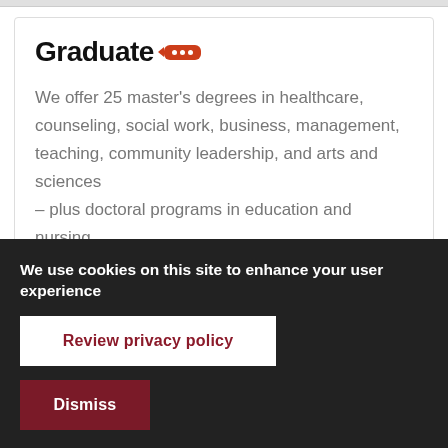Graduate
We offer 25 master's degrees in healthcare, counseling, social work, business, management, teaching, community leadership, and arts and sciences – plus doctoral programs in education and nursing, and 21 certificates of graduate study.
We use cookies on this site to enhance your user experience
Review privacy policy
Dismiss